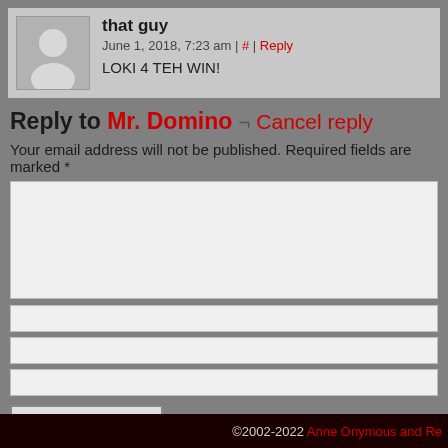that guy
June 1, 2018, 7:23 am | # | Reply
LOKI 4 TEH WIN!
Reply to Mr. Domino ¬ Cancel reply
Your email address will not be published. Required fields are marked *
[Figure (screenshot): Comment form with textarea and input fields]
This site uses Akismet to reduce spam. Learn how your comment data
©2002-2022 Anne Onymous and Re